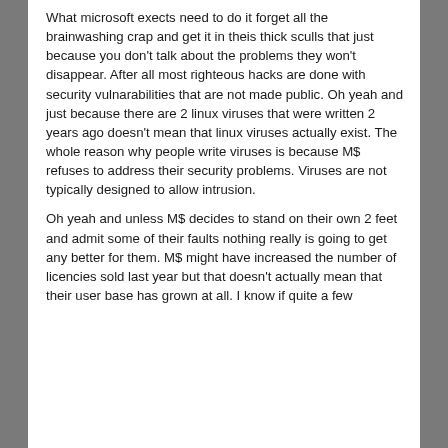What microsoft exects need to do it forget all the brainwashing crap and get it in theis thick sculls that just because you don't talk about the problems they won't disappear. After all most righteous hacks are done with security vulnarabilities that are not made public. Oh yeah and just because there are 2 linux viruses that were written 2 years ago doesn't mean that linux viruses actually exist. The whole reason why people write viruses is because M$ refuses to address their security problems. Viruses are not typically designed to allow intrusion.
Oh yeah and unless M$ decides to stand on their own 2 feet and admit some of their faults nothing really is going to get any better for them. M$ might have increased the number of licencies sold last year but that doesn't actually mean that their user base has grown at all. I know if quite a few